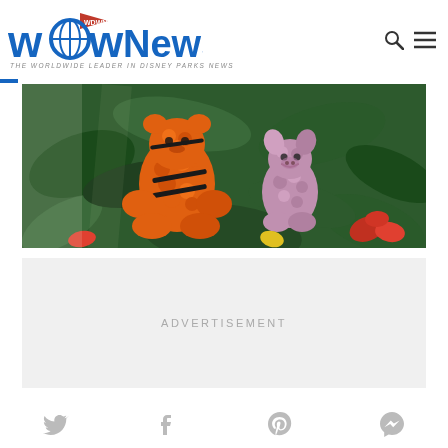WDW News Today — THE WORLDWIDE LEADER IN DISNEY PARKS NEWS
[Figure (photo): Topiary flower sculptures of Tigger (orange) and Piglet (pink) surrounded by tropical green plants and colorful bromeliads, displayed at a Disney park]
ADVERTISEMENT
[Figure (infographic): Social media share icons: Twitter bird, Facebook f, Pinterest P, Messenger bubble]